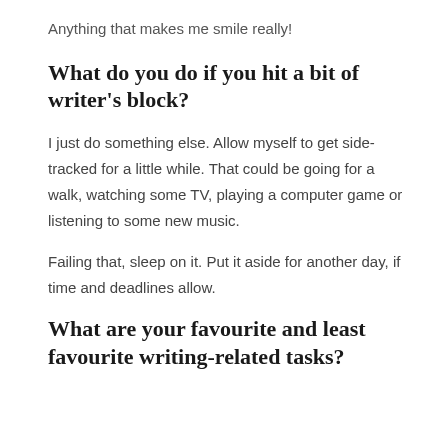Anything that makes me smile really!
What do you do if you hit a bit of writer's block?
I just do something else. Allow myself to get side-tracked for a little while. That could be going for a walk, watching some TV, playing a computer game or listening to some new music.
Failing that, sleep on it. Put it aside for another day, if time and deadlines allow.
What are your favourite and least favourite writing-related tasks?